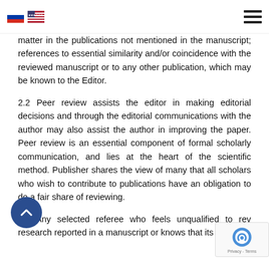[Russian flag] [US flag] [hamburger menu]
matter in the publications not mentioned in the manuscript; references to essential similarity and/or coincidence with the reviewed manuscript or to any other publication, which may be known to the Editor.
2.2 Peer review assists the editor in making editorial decisions and through the editorial communications with the author may also assist the author in improving the paper. Peer review is an essential component of formal scholarly communication, and lies at the heart of the scientific method. Publisher shares the view of many that all scholars who wish to contribute to publications have an obligation to do a fair share of reviewing.
2.3 Any selected referee who feels unqualified to review the research reported in a manuscript or knows that its prompt...